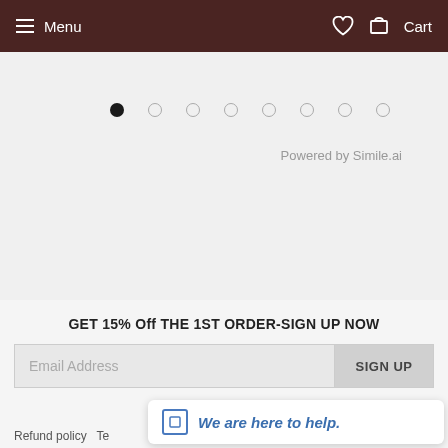Menu  Cart
[Figure (screenshot): Carousel dots navigation — one filled black dot followed by seven empty circle dots, indicating a slideshow position indicator]
Powered by Simile.ai
GET 15% Off THE 1ST ORDER-SIGN UP NOW
Email Address  SIGN UP
Refund policy  Te...
We are here to help.